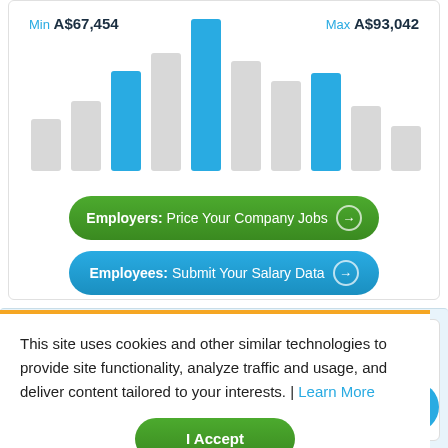[Figure (bar-chart): Histogram-style bar chart showing salary distribution with blue highlighted bars for min (A$67,454) and max (A$93,042) salary ranges, gray bars for other ranges]
Min A$67,454
Max A$93,042
Employers: Price Your Company Jobs →
Employees: Submit Your Salary Data →
This site uses cookies and other similar technologies to provide site functionality, analyze traffic and usage, and deliver content tailored to your interests. | Learn More
I Accept